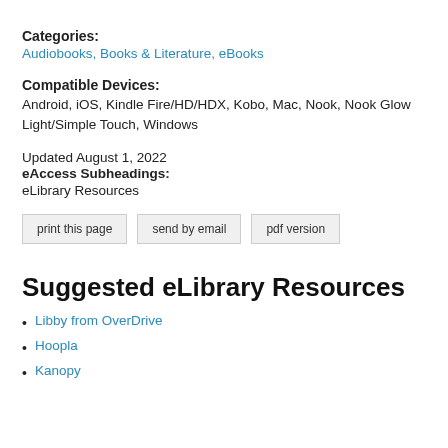Categories:
Audiobooks, Books & Literature, eBooks
Compatible Devices:
Android, iOS, Kindle Fire/HD/HDX, Kobo, Mac, Nook, Nook Glow Light/Simple Touch, Windows
Updated August 1, 2022
eAccess Subheadings:
eLibrary Resources
print this page   send by email   pdf version
Suggested eLibrary Resources
Libby from OverDrive
Hoopla
Kanopy